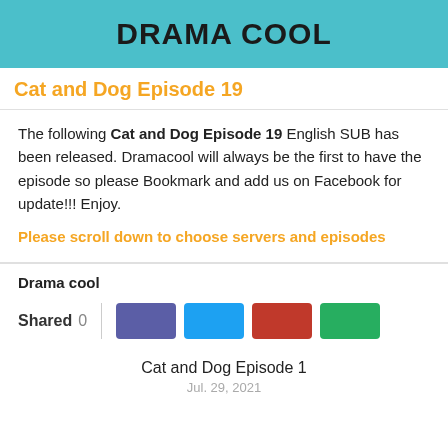DRAMA COOL
Cat and Dog Episode 19
The following Cat and Dog Episode 19 English SUB has been released. Dramacool will always be the first to have the episode so please Bookmark and add us on Facebook for update!!! Enjoy.
Please scroll down to choose servers and episodes
Drama cool
Shared 0
Cat and Dog Episode 1
Jul. 29, 2021